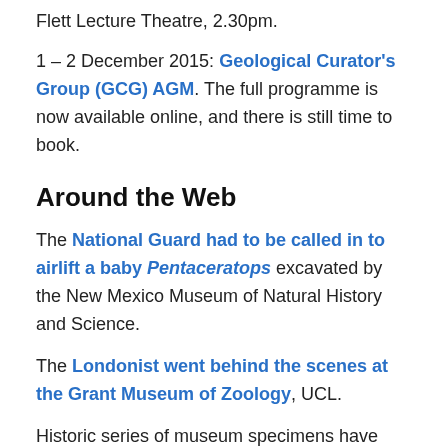Flett Lecture Theatre, 2.30pm.
1 – 2 December 2015: Geological Curator's Group (GCG) AGM. The full programme is now available online, and there is still time to book.
Around the Web
The National Guard had to be called in to airlift a baby Pentaceratops excavated by the New Mexico Museum of Natural History and Science.
The Londonist went behind the scenes at the Grant Museum of Zoology, UCL.
Historic series of museum specimens have helped to solve the puzzle of the evolution of the sparrow's bill.